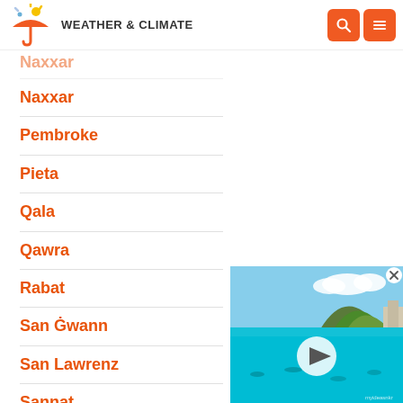WEATHER & CLIMATE
Naxxar
Pembroke
Pieta
Qala
Qawra
Rabat
San Ġwann
San Lawrenz
Sannat
Santa Luċija
[Figure (photo): Video thumbnail showing a coastal scene with a mountain, turquoise water, and people paddleboarding, with a play button overlay]